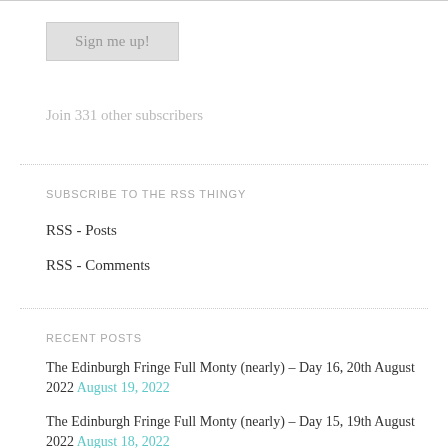[Figure (other): Sign me up! button — a grey rectangular button with light text]
Join 331 other subscribers
SUBSCRIBE TO THE RSS THINGY
RSS - Posts
RSS - Comments
RECENT POSTS
The Edinburgh Fringe Full Monty (nearly) – Day 16, 20th August 2022 August 19, 2022
The Edinburgh Fringe Full Monty (nearly) – Day 15, 19th August 2022 August 18, 2022
The Edinburgh Fringe Full Monty (nearly) – Day 14, 18th